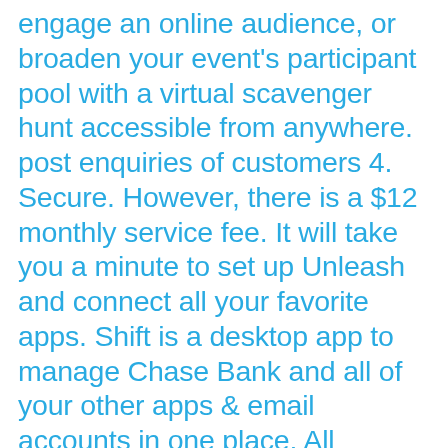engage an online audience, or broaden your event's participant pool with a virtual scavenger hunt accessible from anywhere. post enquiries of customers 4. Secure. However, there is a $12 monthly service fee. It will take you a minute to set up Unleash and connect all your favorite apps. Shift is a desktop app to manage Chase Bank and all of your other apps & email accounts in one place. All applications are subject to credit approval by Chase. Bronx, NY 10458. The Chase app has allowed iOS users to log into via Touch ID since early 2015. 4780 Third Ave. The owner of a hardware CHASE is a mobile app built by The Keyholding Company, used by its Service Partner network to complete jobs in real-time, capturing comprehensive evidence that we surface to our chase freedom visa credit